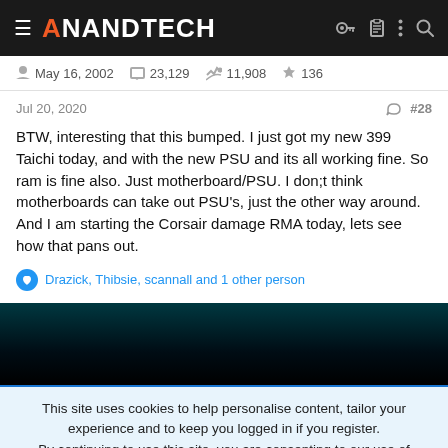AnandTech
May 16, 2002  23,129  11,908  136
Jul 20, 2020  #28
BTW, interesting that this bumped. I just got my new 399 Taichi today, and with the new PSU and its all working fine. So ram is fine also. Just motherboard/PSU. I don;t think motherboards can take out PSU's, just the other way around. And I am starting the Corsair damage RMA today, lets see how that pans out.
Drazick, Thibsie, scannall and 1 other person
[Figure (screenshot): Dark banner/advertisement area]
This site uses cookies to help personalise content, tailor your experience and to keep you logged in if you register.
By continuing to use this site, you are consenting to our use of cookies.